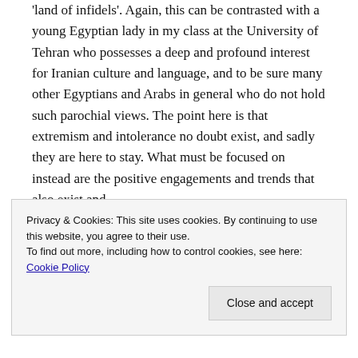'land of infidels'. Again, this can be contrasted with a young Egyptian lady in my class at the University of Tehran who possesses a deep and profound interest for Iranian culture and language, and to be sure many other Egyptians and Arabs in general who do not hold such parochial views. The point here is that extremism and intolerance no doubt exist, and sadly they are here to stay. What must be focused on instead are the positive engagements and trends that also exist and
Privacy & Cookies: This site uses cookies. By continuing to use this website, you agree to their use.
To find out more, including how to control cookies, see here: Cookie Policy